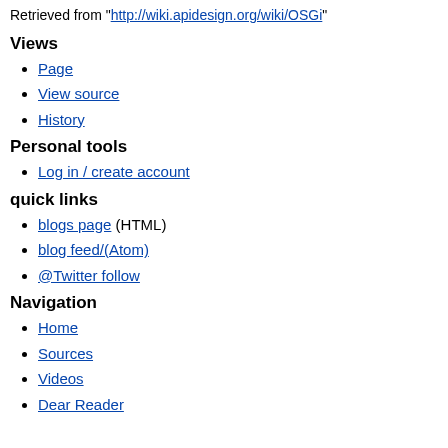Retrieved from "http://wiki.apidesign.org/wiki/OSGi"
Views
Page
View source
History
Personal tools
Log in / create account
quick links
blogs page (HTML)
blog feed/(Atom)
@Twitter follow
Navigation
Home
Sources
Videos
Dear Reader